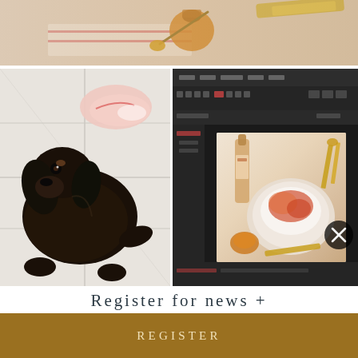[Figure (photo): Top horizontal strip showing food/honey flat lay with golden utensils on a cloth]
[Figure (photo): Left half: black cocker spaniel dog lying on white tile floor looking up toward someone wearing pink Nike sneakers]
[Figure (screenshot): Right half: screenshot of a photo editing software showing a food flat lay with pavlova/cake, wine bottle, and golden utensils. Has X close button in corner.]
Register for news +
REGISTER